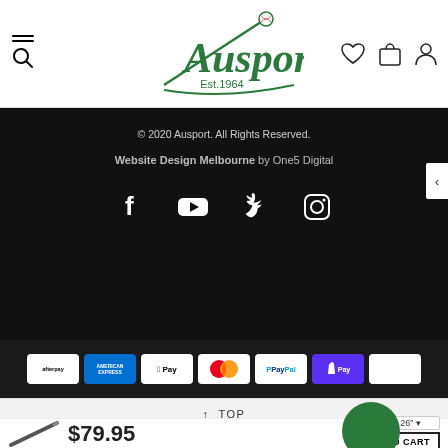Ausport Est.1964 — navigation header with hamburger/search, logo, and icons (heart, bag, person)
© 2020 Ausport. All Rights Reserved.
Website Design Melbourne by One5 Digital
[Figure (infographic): Social media icons: Facebook, YouTube, Twitter, Instagram in white on dark background]
[Figure (infographic): Payment method badges: Afterpay, American Express, Apple Pay, Mastercard, PayPal, Shopify Pay, and one more]
↑ TOP
[Figure (photo): Baseball bat product thumbnail image]
$79.95
26" size selector dropdown
ADD TO CART